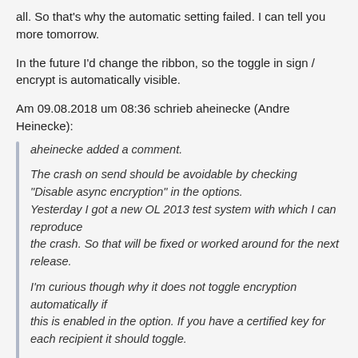all. So that's why the automatic setting failed. I can tell you more tomorrow.
In the future I'd change the ribbon, so the toggle in sign / encrypt is automatically visible.
Am 09.08.2018 um 08:36 schrieb aheinecke (Andre Heinecke):
aheinecke added a comment.

The crash on send should be avoidable by checking "Disable async encryption" in the options.
Yesterday I got a new OL 2013 test system with which I can reproduce
the crash. So that will be fixed or worked around for the next release.

I'm curious though why it does not toggle encryption automatically if
this is enabled in the option. If you have a certified key for each recipient it should toggle.

It won't automatically use keys with unknown validity (technically